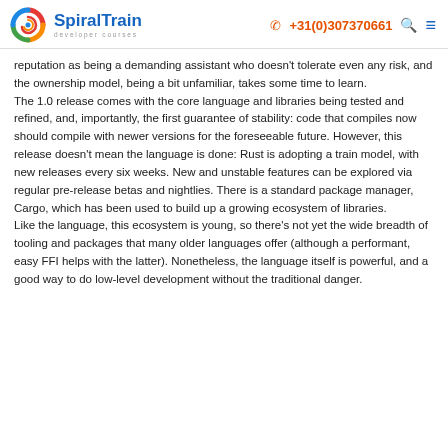SpiralTrain developer courses | +31(0)307370661
reputation as being a demanding assistant who doesn't tolerate even any risk, and the ownership model, being a bit unfamiliar, takes some time to learn.
The 1.0 release comes with the core language and libraries being tested and refined, and, importantly, the first guarantee of stability: code that compiles now should compile with newer versions for the foreseeable future. However, this release doesn't mean the language is done: Rust is adopting a train model, with new releases every six weeks. New and unstable features can be explored via regular pre-release betas and nightlies. There is a standard package manager, Cargo, which has been used to build up a growing ecosystem of libraries.
Like the language, this ecosystem is young, so there's not yet the wide breadth of tooling and packages that many older languages offer (although a performant, easy FFI helps with the latter). Nonetheless, the language itself is powerful, and a good way to do low-level development without the traditional danger.